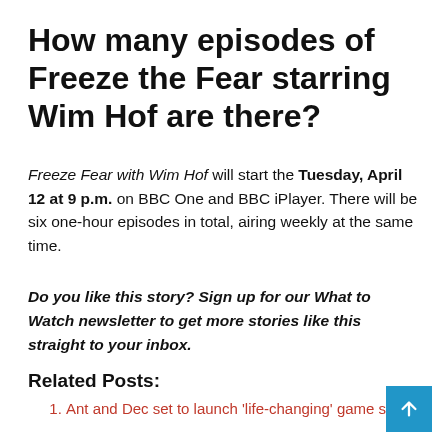How many episodes of Freeze the Fear starring Wim Hof are there?
Freeze Fear with Wim Hof will start the Tuesday, April 12 at 9 p.m. on BBC One and BBC iPlayer. There will be six one-hour episodes in total, airing weekly at the same time.
Do you like this story? Sign up for our What to Watch newsletter to get more stories like this straight to your inbox.
Related Posts:
Ant and Dec set to launch 'life-changing' game show